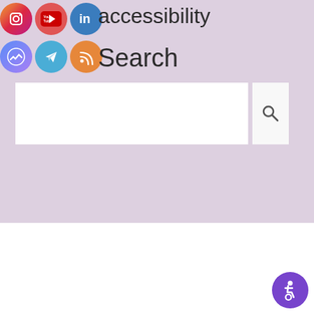[Figure (screenshot): Social media icon row 1: Instagram (gradient circle), YouTube (red circle), LinkedIn (blue circle)]
accessibility
[Figure (screenshot): Social media icon row 2: Messenger (gradient circle), Telegram (blue circle), RSS (orange circle)]
Search
[Figure (screenshot): Search bar input box (white rectangle) with search button (magnifying glass icon) on right]
Copyright © 2022 Eastbourne Access Group. All rights reserved.
Supported by Cliff Davison for Eastbourne Access Gro...
[Figure (other): Accessibility widget icon (wheelchair symbol in purple circle)]